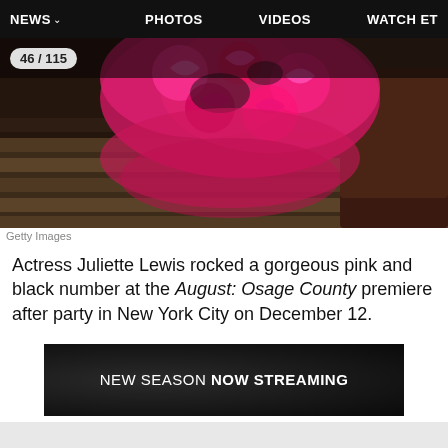NEWS  PHOTOS  VIDEOS  WATCH ET
[Figure (photo): Overhead/close-up photo of a woman wearing a pink and black floral patterned dress, on a wooden floor. Counter badge shows 46/115.]
Getty Images
Actress Juliette Lewis rocked a gorgeous pink and black number at the August: Osage County premiere after party in New York City on December 12.
[Figure (screenshot): Dark advertisement banner reading: NEW SEASON NOW STREAMING]